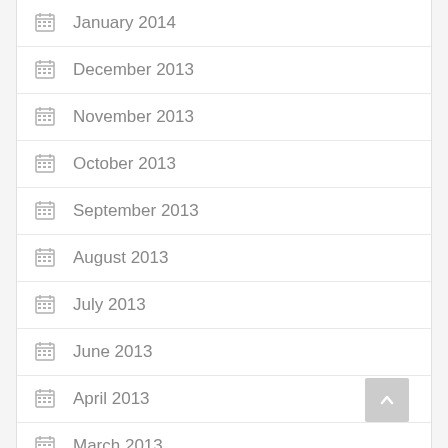January 2014
December 2013
November 2013
October 2013
September 2013
August 2013
July 2013
June 2013
April 2013
March 2013
February 2013
January 2013